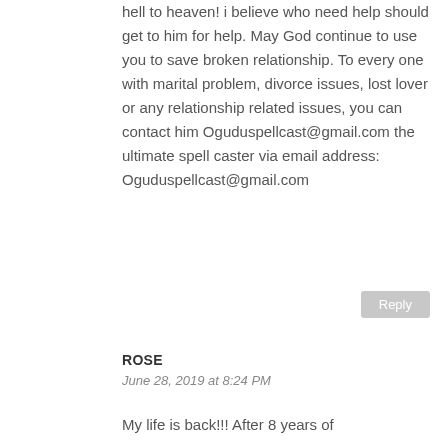hell to heaven! i believe who need help should get to him for help. May God continue to use you to save broken relationship. To every one with marital problem, divorce issues, lost lover or any relationship related issues, you can contact him Oguduspellcast@gmail.com the ultimate spell caster via email address: Oguduspellcast@gmail.com
Reply
ROSE
June 28, 2019 at 8:24 PM
My life is back!!! After 8 years of